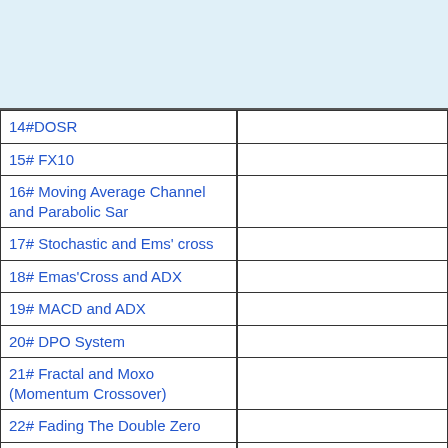14#DOSR
15# FX10
16# Moving Average Channel and Parabolic Sar
17# Stochastic and Ems' cross
18# Emas'Cross and ADX
19# MACD and ADX
20# DPO System
21# Fractal and Moxo (Momentum Crossover)
22# Fading The Double Zero
23# Waiting for Real Deal
24# The Fader
25# Channel Strategy
26# GPY 4H Strategy